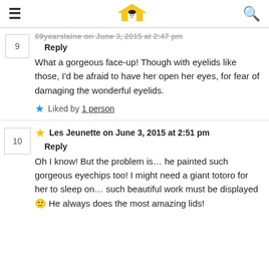Blythe Dollhouse — navigation header with hamburger menu and search icon
69yearslaine on June 3, 2015 at 2:47 pm
Reply
What a gorgeous face-up! Though with eyelids like those, I'd be afraid to have her open her eyes, for fear of damaging the wonderful eyelids.
Liked by 1 person
Les Jeunette on June 3, 2015 at 2:51 pm
Reply
Oh I know! But the problem is… he painted such gorgeous eyechips too! I might need a giant totoro for her to sleep on… such beautiful work must be displayed 🙂 He always does the most amazing lids!